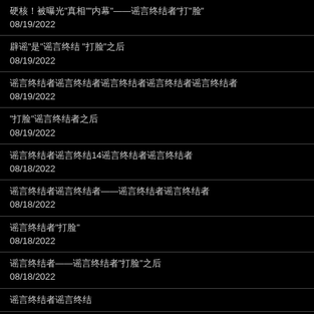硬核！被曝光"真相""内幕"——谣言终结者"打"脸"
08/19/2022
辟谣"是"谣言终结 "打脸"之后
08/19/2022
谣言终结者谣言终结者谣言终结者谣言终结者谣言终结者
08/19/2022
"打脸"谣言终结者之后
08/19/2022
谣言终结者谣言终结14谣言终结者谣言终结者
08/18/2022
谣言终结者谣言终结者——谣言终结者谣言终结者
08/18/2022
谣言终结者"打脸"
08/18/2022
谣言终结者——谣言终结者"打脸"之后
08/18/2022
谣言终结者谣言终结